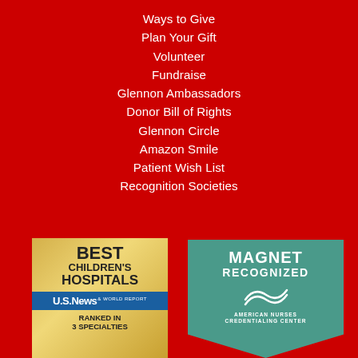Ways to Give
Plan Your Gift
Volunteer
Fundraise
Glennon Ambassadors
Donor Bill of Rights
Glennon Circle
Amazon Smile
Patient Wish List
Recognition Societies
[Figure (logo): U.S. News & World Report Best Children's Hospitals badge - Ranked in 3 Specialties]
[Figure (logo): Magnet Recognized - American Nurses Credentialing Center badge]